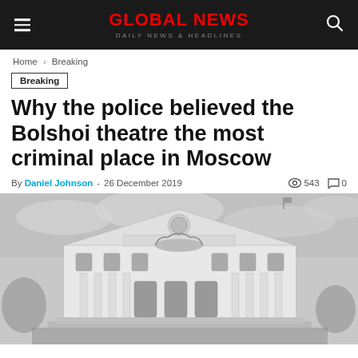GLOBAL NEWS — DAILY NEWS & HEADLINES
Home › Breaking
Breaking
Why the police believed the Bolshoi theatre the most criminal place in Moscow
By Daniel Johnson - 26 December 2019   👁 543   💬 0
[Figure (photo): Black and white photograph of the Bolshoi Theatre facade in Moscow, showing the classical columns, triangular pediment with sculptural frieze, and the famous quadriga (horse-drawn chariot sculpture) at the top entrance portico.]